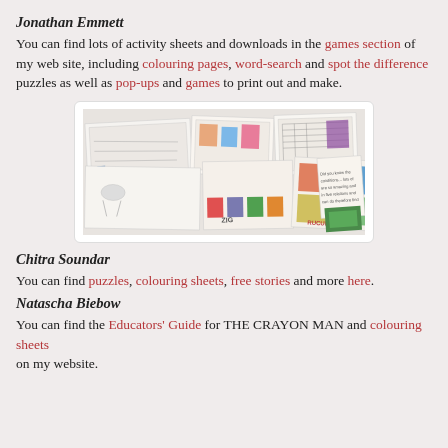Jonathan Emmett
You can find lots of activity sheets and downloads in the games section of my web site, including colouring pages, word-search and spot the difference puzzles as well as pop-ups and games to print out and make.
[Figure (photo): Collection of activity sheets, coloring pages, word-search puzzles, and game printouts spread out overlapping each other]
Chitra Soundar
You can find puzzles, colouring sheets, free stories and more here.
Natascha Biebow
You can find the Educators' Guide for THE CRAYON MAN and colouring sheets on my website.